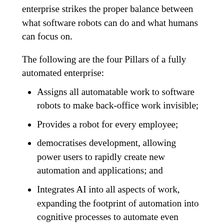enterprise strikes the proper balance between what software robots can do and what humans can focus on.
The following are the four Pillars of a fully automated enterprise:
Assigns all automatable work to software robots to make back-office work invisible;
Provides a robot for every employee;
democratises development, allowing power users to rapidly create new automation and applications; and
Integrates AI into all aspects of work, expanding the footprint of automation into cognitive processes to automate even more.
“These pillars are a response to real, material